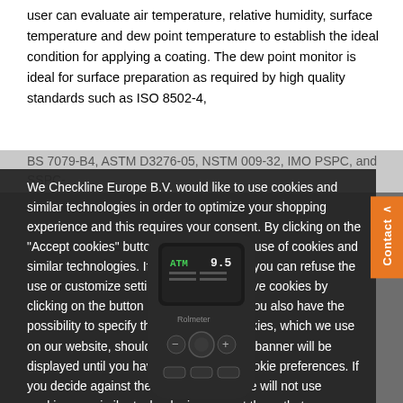user can evaluate air temperature, relative humidity, surface temperature and dew point temperature to establish the ideal condition for applying a coating. The dew point monitor is ideal for surface preparation as required by high quality standards such as ISO 8502-4,
BS 7079-B4, ASTM D3276-05, NSTM 009-32, IMO PSPC, and SSPC-
We Checkline Europe B.V. would like to use cookies and similar technologies in order to optimize your shopping experience and this requires your consent. By clicking on the "Accept cookies" button you agree to our use of cookies and similar technologies. If you do not agree, you can refuse the use or customize settings for the respective cookies by clicking on the button "Cookie Settings".You also have the possibility to specify that only certain cookies, which we use on our website, should be activated. This banner will be displayed until you have selected your cookie preferences. If you decide against the use of cookies, we will not use cookies nor similar technologies, except those that are essential for the proper functioning of the website. Click here for our privacy policy
→ Accept Cookies
→ Cookie Settings
[Figure (photo): Checkline/Rolmeter RBM Dew Point Meter handheld device shown from front, dark colored with display screen and navigation buttons]